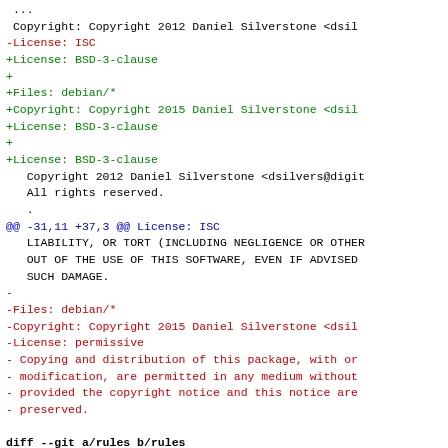Diff/patch output showing changes to a debian copyright file and rules file, with added lines in green, removed lines in red, context lines in black, and hunk headers in blue.